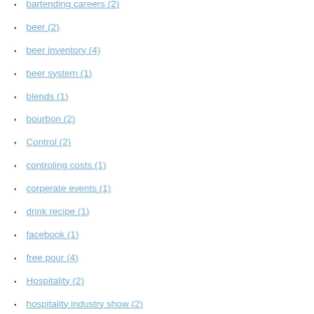bartending careers (2)
beer (2)
beer inventory (4)
beer system (1)
blends (1)
bourbon (2)
Control (2)
controling costs (1)
corperate events (1)
drink recipe (1)
facebook (1)
free pour (4)
Hospitality (2)
hospitality industry show (2)
hospitality jobs (6)
Hospitality show (2)
Hotel Inventory (2)